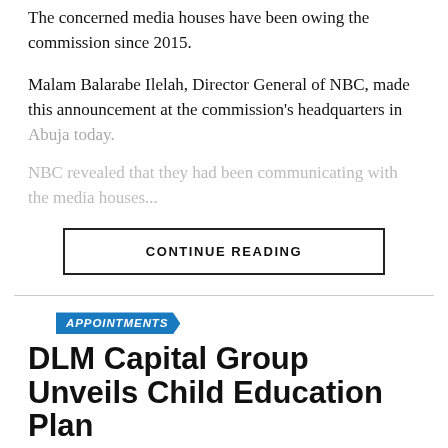The concerned media houses have been owing the commission since 2015.
Malam Balarabe Ilelah, Director General of NBC, made this announcement at the commission's headquarters in Abuja today.
NBC revealed that they had been communicating with the media houses...
CONTINUE READING
APPOINTMENTS
DLM Capital Group Unveils Child Education Plan
DLM Asset Management, a DLM Capital Group subsidiary, has launched its Child Education Plan.